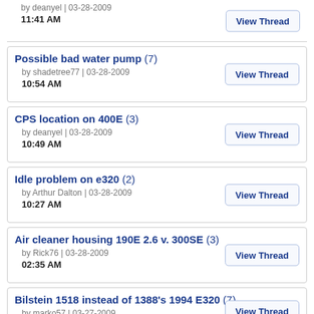by deanyel | 03-28-2009
11:41 AM
Possible bad water pump (7)
by shadetree77 | 03-28-2009
10:54 AM
CPS location on 400E (3)
by deanyel | 03-28-2009
10:49 AM
Idle problem on e320 (2)
by Arthur Dalton | 03-28-2009
10:27 AM
Air cleaner housing 190E 2.6 v. 300SE (3)
by Rick76 | 03-28-2009
02:35 AM
Bilstein 1518 instead of 1388's 1994 E320 (7)
by marko57 | 03-27-2009